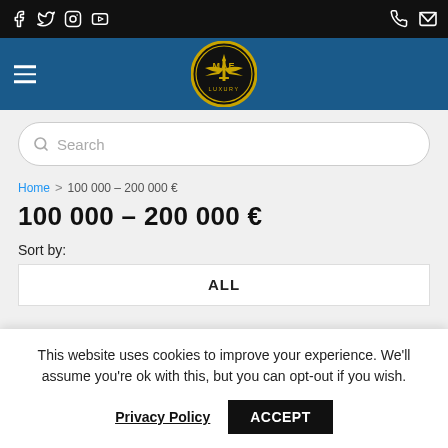[Figure (screenshot): Top black navigation bar with social media icons (Facebook, Twitter, Instagram, YouTube) on the left and phone/email icons on the right]
[Figure (logo): MAE Luxury logo — gold circular emblem with wings and text on blue navigation bar]
Search
Home > 100 000 – 200 000 €
100 000 – 200 000 €
Sort by:
ALL
This website uses cookies to improve your experience. We'll assume you're ok with this, but you can opt-out if you wish.
Privacy Policy  ACCEPT